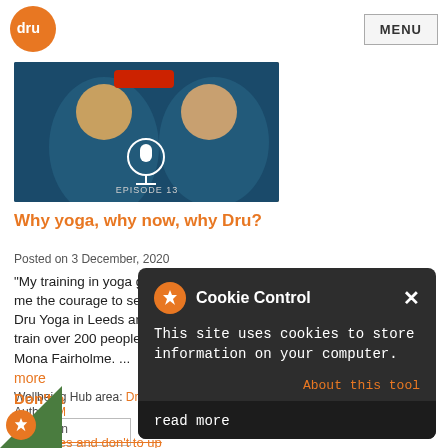[Figure (logo): Dru orange circular logo with 'dru' text in white]
MENU
[Figure (photo): Two women smiling, podcast episode thumbnail with 'EPISODE 13' text overlay]
Why yoga, why now, why Dru?
Posted on 3 December, 2020
"My training in yoga gave me the courage to set up Dru Yoga in Leeds and train over 200 people" Mona Fairholme. ...
more
Wellbeing Hub area: Dru Yoga
Author: M
Don't a become
Posted on
Be fearl ur pa
[Figure (screenshot): Cookie Control popup overlay on dark background. Contains text: 'This site uses cookies to store information on your computer.' with 'About this tool' link and 'read more' button.]